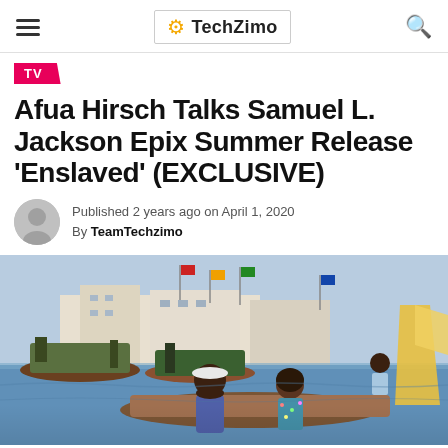TechZimo
TV
Afua Hirsch Talks Samuel L. Jackson Epix Summer Release ‘Enslaved’ (EXCLUSIVE)
Published 2 years ago on April 1, 2020
By TeamTechzimo
[Figure (photo): Harbor scene with boats and two people in foreground, busy port with colorful flags and buildings in background]